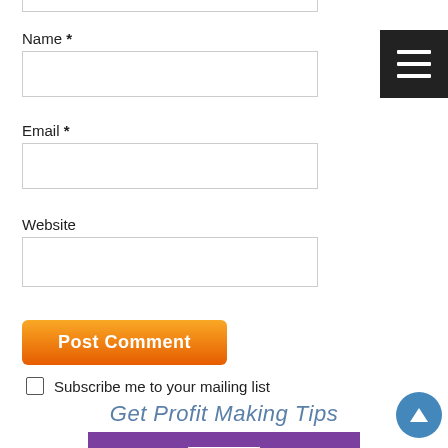Name *
Email *
Website
Post Comment
Subscribe me to your mailing list
[Figure (screenshot): Hamburger menu button (black square with three white horizontal lines) in top-right corner]
Get Profit Making Tips for Your Business!
[Figure (illustration): Mailbox illustration on purple background with envelope being inserted, shown at bottom of page]